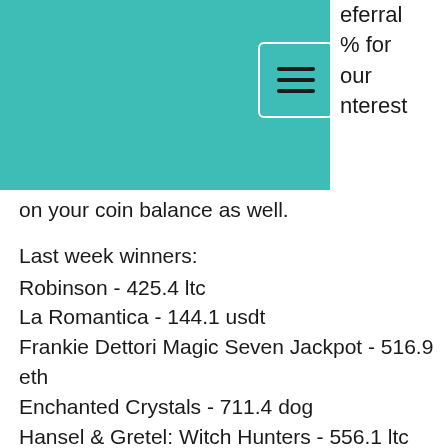eferral % for our nterest on your coin balance as well.
Last week winners:
Robinson - 425.4 ltc
La Romantica - 144.1 usdt
Frankie Dettori Magic Seven Jackpot - 516.9 eth
Enchanted Crystals - 711.4 dog
Hansel & Gretel: Witch Hunters - 556.1 ltc
Jewels World - 25.8 ltc
Tropic Dancer - 524.9 eth
Divine Ways - 618.2 usdt
Jackpot Rango - 27.3 btc
Royal Frog - 544.2 dog
Treasures of Tombs - 48.3 btc
Jewel Land - 368.7 dog
Indiana's Quest - 234 ltc
The Pyramid of Ramesses - 581.2 bch